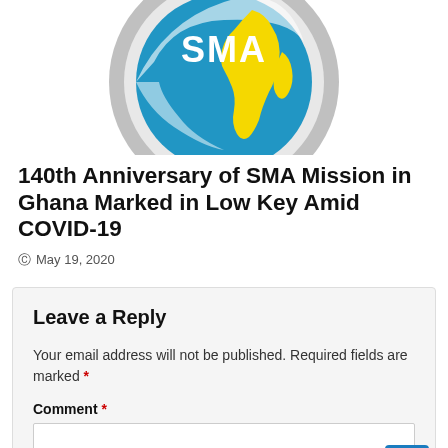[Figure (logo): SMA (Society of African Missions) circular logo with blue background, white text 'SMA', and yellow Africa continent map, with grey/silver ring border. Partially cropped at top.]
140th Anniversary of SMA Mission in Ghana Marked in Low Key Amid COVID-19
May 19, 2020
Leave a Reply
Your email address will not be published. Required fields are marked *
Comment *